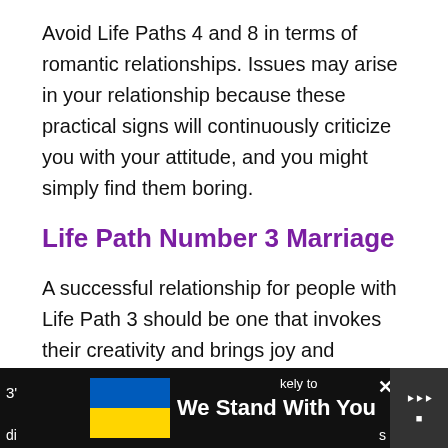Avoid Life Paths 4 and 8 in terms of romantic relationships. Issues may arise in your relationship because these practical signs will continuously criticize you with your attitude, and you might simply find them boring.
Life Path Number 3 Marriage
A successful relationship for people with Life Path 3 should be one that invokes their creativity and brings joy and optimism to their world. 3’s would be happiest with a partner who’s as spontaneous as them.
[Figure (screenshot): Advertisement banner at bottom of page showing Ukrainian flag colors and text 'We Stand With You' with a close button and logo on the right side.]